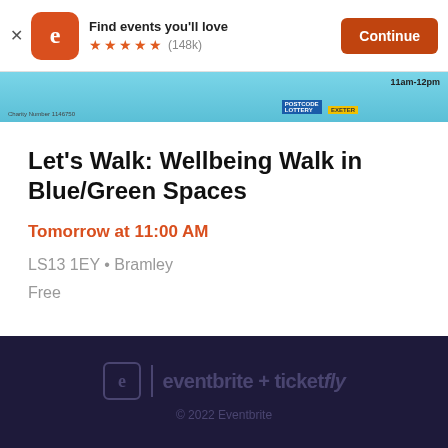[Figure (screenshot): App banner with Eventbrite logo, 'Find events you'll love', 5 stars, (148k) reviews, and Continue button]
[Figure (screenshot): Partial event banner image showing blue/teal background with charity number, Postcode/Lottery logos, and time 11am-12pm]
Let's Walk: Wellbeing Walk in Blue/Green Spaces
Tomorrow at 11:00 AM
LS13 1EY • Bramley
Free
eventbrite + ticketfly
© 2022 Eventbrite